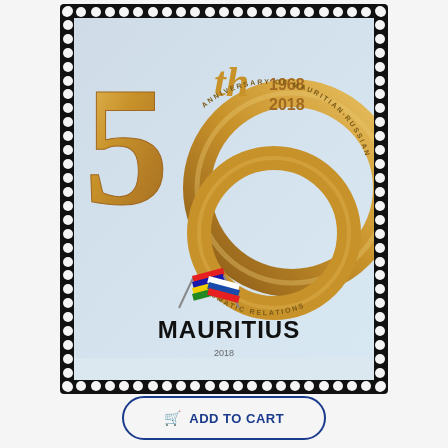[Figure (illustration): Postage stamp from Mauritius commemorating the 50th Anniversary of Mauritian-Russian Diplomatic Relations (1968-2018). Features a golden '50th' logo with interlocking rings, text 'ANNIVERSARY OF MAURITIAN-RUSSIAN DIPLOMATIC RELATIONS' in an arc, crossed flags of Mauritius and Russia, the word 'MAURITIUS' in bold, and the year 2018 at the bottom.]
ADD TO CART